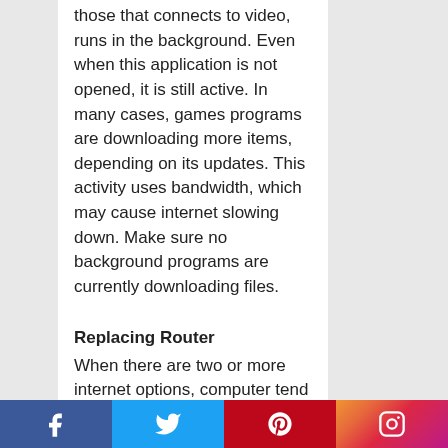those that connects to video, runs in the background. Even when this application is not opened, it is still active. In many cases, games programs are downloading more items, depending on its updates. This activity uses bandwidth, which may cause internet slowing down. Make sure no background programs are currently downloading files.
Replacing Router
When there are two or more internet options, computer tend to choose the one with
[Figure (other): Social media footer bar with Facebook, Twitter, Pinterest, and Instagram icons]